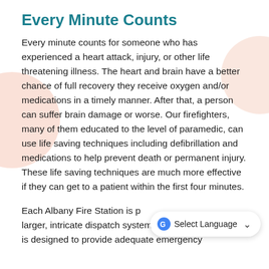Every Minute Counts
Every minute counts for someone who has experienced a heart attack, injury, or other life threatening illness. The heart and brain have a better chance of full recovery they receive oxygen and/or medications in a timely manner. After that, a person can suffer brain damage or worse. Our firefighters, many of them educated to the level of paramedic, can use life saving techniques including defibrillation and medications to help prevent death or permanent injury. These life saving techniques are much more effective if they can get to a patient within the first four minutes.
Each Albany Fire Station is p… larger, intricate dispatch system. The system is designed to provide adequate emergency